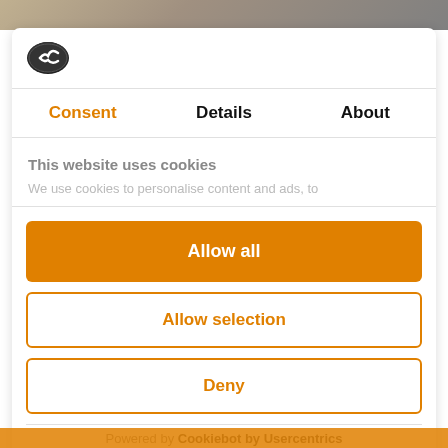[Figure (screenshot): Top partial image strip showing a person in the background, cropped]
[Figure (logo): Cookiebot cookie logo — dark oval with cookie/checkmark icon]
Consent	Details	About
This website uses cookies
We use cookies to personalise content and ads, to
Allow all
Allow selection
Deny
Powered by Cookiebot by Usercentrics